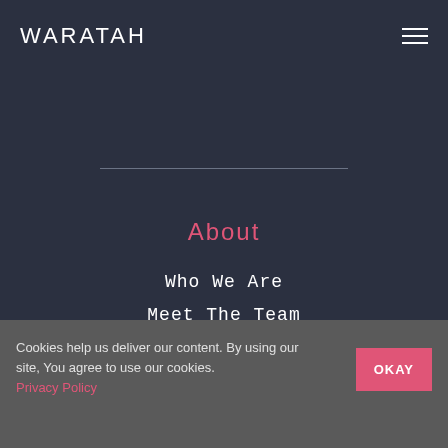WARATAH
About
Who We Are
Meet The Team
Cookies help us deliver our content. By using our site, You agree to use our cookies. Privacy Policy